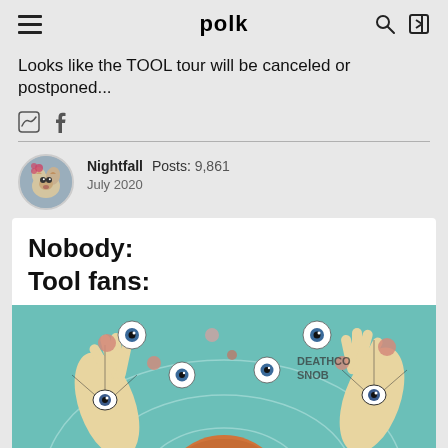polk
Looks like the TOOL tour will be canceled or postponed...
Nightfall  Posts: 9,861  July 2020
[Figure (illustration): Meme post with text 'Nobody: Tool fans:' followed by a psychedelic illustration of hands with eyes, floating spheres, and a figure with a round orange head on a teal background, watermarked 'DEATHCO SNOB']